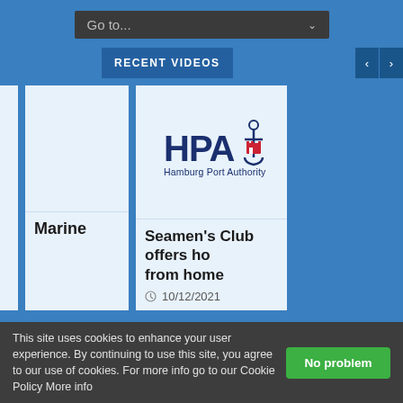[Figure (screenshot): Navigation dropdown showing 'Go to...' with dark background and dropdown arrow]
RECENT VIDEOS
[Figure (logo): Hamburg Port Authority (HPA) logo with anchor icon and text 'Hamburg Port Authority']
Marine
Seamen's Club offers ho from home
10/12/2021
This site uses cookies to enhance your user experience. By continuing to use this site, you agree to our use of cookies. For more info go to our Cookie Policy More info